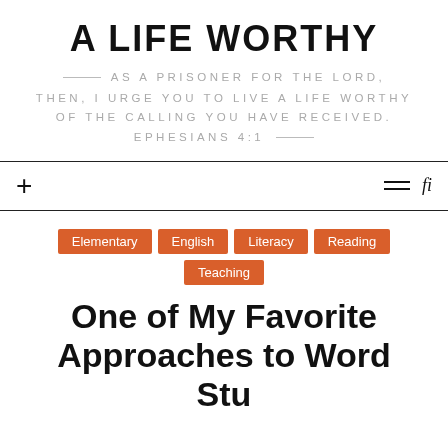A LIFE WORTHY
AS A PRISONER FOR THE LORD, THEN, I URGE YOU TO LIVE A LIFE WORTHY OF THE CALLING YOU HAVE RECEIVED. EPHESIANS 4:1
+ (navigation) hamburger menu, search icon
Elementary · English · Literacy · Reading · Teaching
One of My Favorite Approaches to Word Study